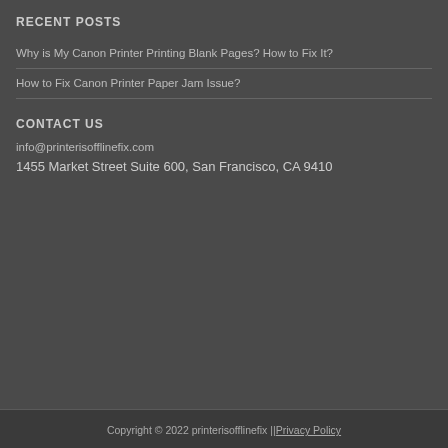RECENT POSTS
Why is My Canon Printer Printing Blank Pages? How to Fix It?
How to Fix Canon Printer Paper Jam Issue?
CONTACT US
info@printerisofflinefix.com
1455 Market Street Suite 600, San Francisco, CA 9410
Copyright © 2022 printerisofflinefix ||Privacy Policy